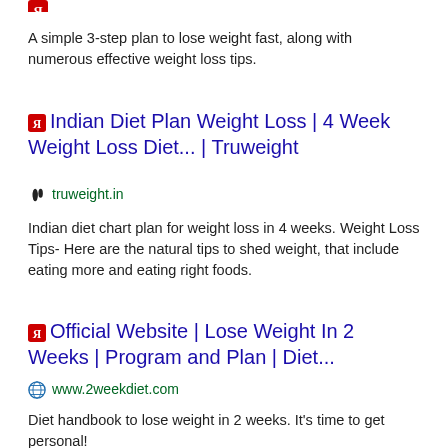A simple 3-step plan to lose weight fast, along with numerous effective weight loss tips.
Indian Diet Plan Weight Loss | 4 Week Weight Loss Diet... | Truweight
truweight.in
Indian diet chart plan for weight loss in 4 weeks. Weight Loss Tips- Here are the natural tips to shed weight, that include eating more and eating right foods.
Official Website | Lose Weight In 2 Weeks | Program and Plan | Diet...
www.2weekdiet.com
Diet handbook to lose weight in 2 weeks. It's time to get personal!